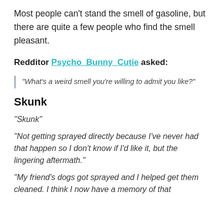Most people can't stand the smell of gasoline, but there are quite a few people who find the smell pleasant.
Redditor Psycho_Bunny_Cutie asked:
"What's a weird smell you're willing to admit you like?"
Skunk
"Skunk"
"Not getting sprayed directly because I've never had that happen so I don't know if I'd like it, but the lingering aftermath."
"My friend's dogs got sprayed and I helped get them cleaned. I think I now have a memory of that